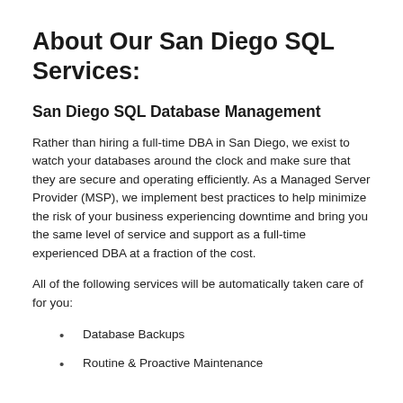About Our San Diego SQL Services:
San Diego SQL Database Management
Rather than hiring a full-time DBA in San Diego, we exist to watch your databases around the clock and make sure that they are secure and operating efficiently. As a Managed Server Provider (MSP), we implement best practices to help minimize the risk of your business experiencing downtime and bring you the same level of service and support as a full-time experienced DBA at a fraction of the cost.
All of the following services will be automatically taken care of for you:
Database Backups
Routine & Proactive Maintenance